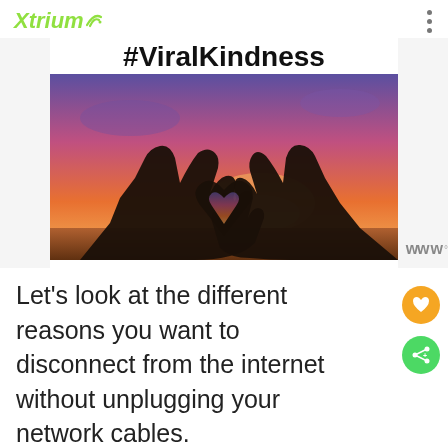Xtrium
[Figure (photo): A photograph showing two hands making a heart shape silhouetted against a vivid sunset sky with purple and orange hues. Above the image is the hashtag #ViralKindness in bold black text.]
Let's look at the different reasons you want to disconnect from the internet without unplugging your network cables.
[Figure (photo): A dark banner with white bold text reading SHE CAN STEM]